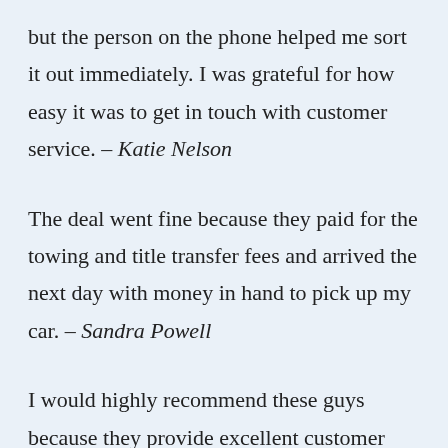but the person on the phone helped me sort it out immediately. I was grateful for how easy it was to get in touch with customer service. – Katie Nelson
The deal went fine because they paid for the towing and title transfer fees and arrived the next day with money in hand to pick up my car. – Sandra Powell
I would highly recommend these guys because they provide excellent customer service. The entire transaction was a positive experience from